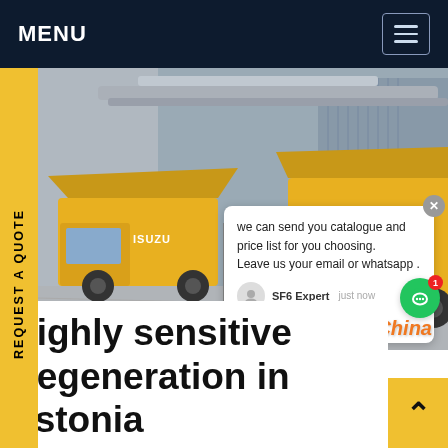MENU
[Figure (photo): Two yellow ISUZU trucks with open cargo bays parked in an industrial area. A white chat popup overlay reads: 'we can send you catalogue and price list for you choosing. Leave us your email or whatsapp . SF6 Expert just now Write a [thumbs up] [paperclip]'. A green live chat button with badge '1' is visible. Orange 'SF6China' watermark at bottom right.]
Highly sensitive Regeneration in Estonia